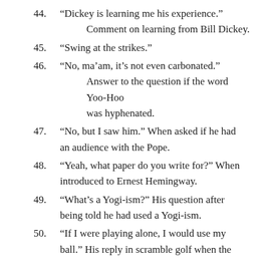44. “Dickey is learning me his experience.” Comment on learning from Bill Dickey.
45. “Swing at the strikes.”
46. “No, ma’am, it’s not even carbonated.” Answer to the question if the word Yoo-Hoo was hyphenated.
47. “No, but I saw him.” When asked if he had an audience with the Pope.
48. “Yeah, what paper do you write for?” When introduced to Ernest Hemingway.
49. “What’s a Yogi-ism?” His question after being told he had used a Yogi-ism.
50. “If I were playing alone, I would use my ball.” His reply in scramble golf when the